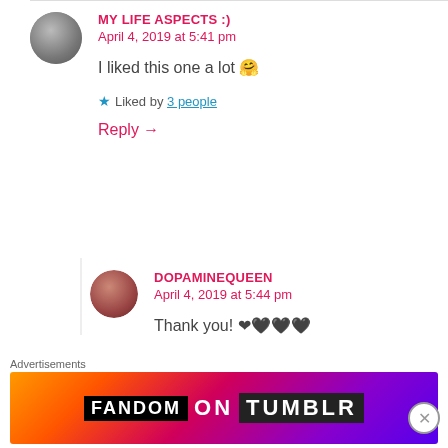MY LIFE ASPECTS :)
April 4, 2019 at 5:41 pm
I liked this one a lot 🤗
★ Liked by 3 people
Reply →
DOPAMINEQUEEN
April 4, 2019 at 5:44 pm
Thank you! ❤🖤🖤🖤
Advertisements
[Figure (other): Fandom on Tumblr advertisement banner with colorful gradient background (orange, pink, purple) and the text FANDOM ON tumblr in bold white letters]